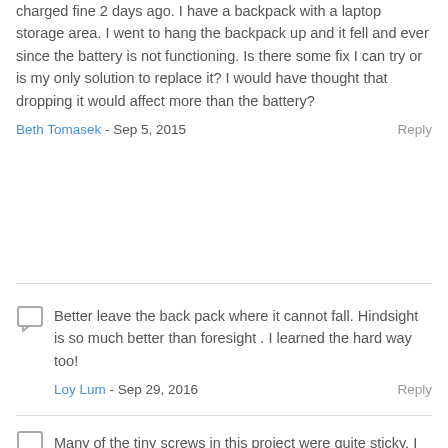charged fine 2 days ago. I have a backpack with a laptop storage area. I went to hang the backpack up and it fell and ever since the battery is not functioning. Is there some fix I can try or is my only solution to replace it? I would have thought that dropping it would affect more than the battery?
Beth Tomasek - Sep 5, 2015   Reply
Better leave the back pack where it cannot fall. Hindsight is so much better than foresight . I learned the hard way too!
Loy Lum - Sep 29, 2016   Reply
Many of the tiny screws in this project were quite sticky. I found some blue Loctite residue that must have been when the Apple repair shop worked on the laptop years ago. I have found that it is important to hold the correct driver firmly down in the screw and then just tweak the driver in short bursts to loosen it before unscrewing it with a